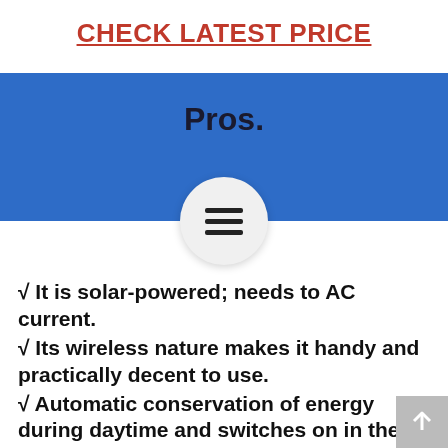CHECK LATEST PRICE
Pros.
[Figure (infographic): Blue banner with 'Pros.' heading and a circular hamburger menu icon below it]
√ It is solar-powered; needs to AC current.
√ Its wireless nature makes it handy and practically decent to use.
√ Automatic conservation of energy during daytime and switches on in the